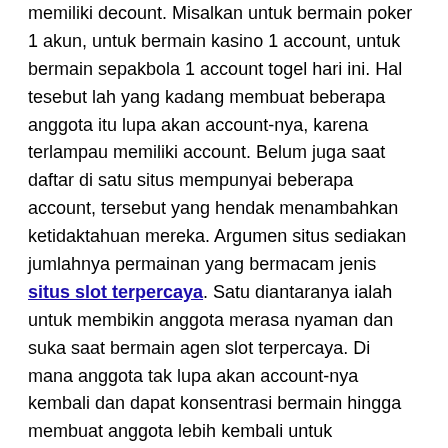memiliki decount. Misalkan untuk bermain poker 1 akun, untuk bermain kasino 1 account, untuk bermain sepakbola 1 account togel hari ini. Hal tesebut lah yang kadang membuat beberapa anggota itu lupa akan account-nya, karena terlampau memiliki account. Belum juga saat daftar di satu situs mempunyai beberapa account, tersebut yang hendak menambahkan ketidaktahuan mereka. Argumen situs sediakan jumlahnya permainan yang bermacam jenis situs slot terpercaya. Satu diantaranya ialah untuk membikin anggota merasa nyaman dan suka saat bermain agen slot terpercaya. Di mana anggota tak lupa akan account-nya kembali dan dapat konsentrasi bermain hingga membuat anggota lebih kembali untuk memperoleh menangnya togel hari ini.
Banyak Permainan Di Slot Judi Online
Selanjutnya argumen ke-2 nya ialah agar anggota tidak berasa jemu saat bermain di website KING88BET. Jika jenis